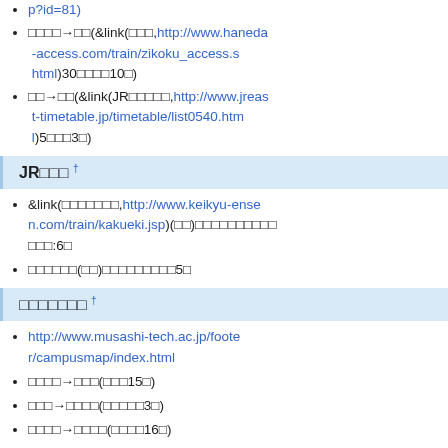p?id=81)
□□□□→□□(&link(□□□,http://www.haneda-access.com/train/zikoku_access.shtml)30□□□□10□)
□□→□□(&link(JR□□□□□,http://www.jreast-timetable.jp/timetable/list0540.html)5□□□3□)
JR□□□ †
&link(□□□□□□□,http://www.keikyu-ensen.com/train/kakueki.jsp)(□□)□□□□□□□□□□□□□:6□
□□□□□□(□□)□□□□□□□□□□□5□
□□□□□□□ †
http://www.musashi-tech.ac.jp/footer/campusmap/index.html
□□□□→□□□(□□□15□)
□□□→□□□□(□□□□□3□)
□□□□→□□□□(□□□□16□)
□□□□→□□□□□□□□(□□12□)